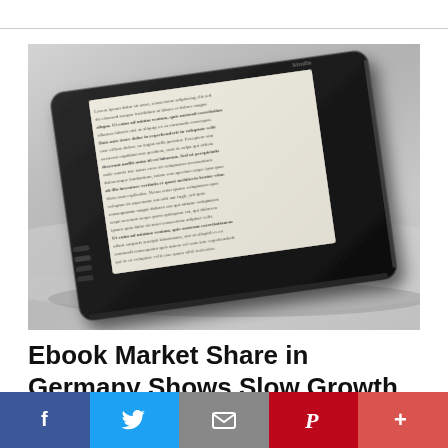[Figure (photo): Black and white photograph of a Kindle e-reader lying on a flat surface at an angle, with text visible on the e-ink screen.]
Ebook Market Share in Germany Shows Slow Growth
[Figure (infographic): Social media sharing bar with five buttons: Facebook (blue, f icon), Twitter (light blue, bird icon), Email (grey, envelope icon), Pinterest (red, P icon), More (dark red, plus icon)]